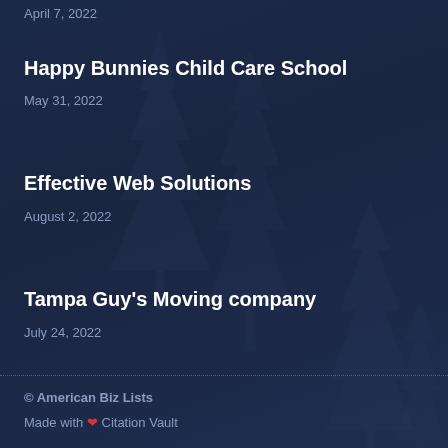April 7, 2022
Happy Bunnies Child Care School
May 31, 2022
Effective Web Solutions
August 2, 2022
Tampa Guy's Moving company
July 24, 2022
© American Biz Lists
Made with ❤ Citation Vault